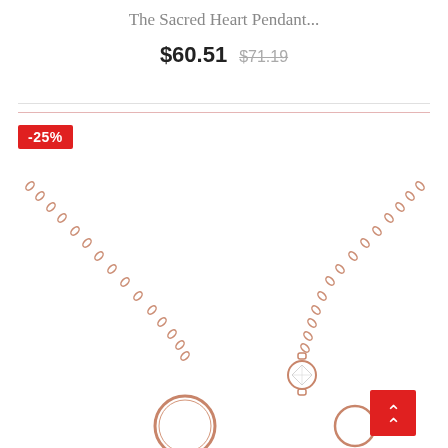The Sacred Heart Pendant...
$60.51 $71.19
-25%
[Figure (photo): Rose gold chain necklace with a circular pendant and crystal/diamond charm, photographed against a white background. A red scroll-to-top button appears in the lower right corner.]